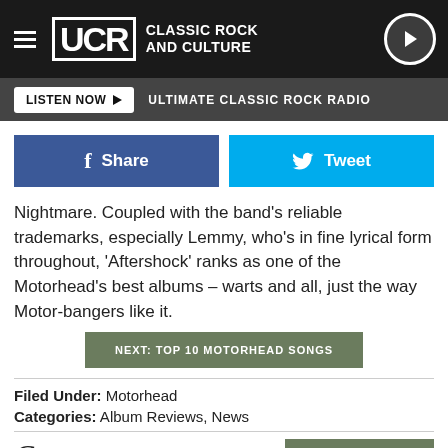UCR CLASSIC ROCK AND CULTURE
LISTEN NOW ▶  ULTIMATE CLASSIC ROCK RADIO
Share   Tweet
Nightmare. Coupled with the band's reliable trademarks, especially Lemmy, who's in fine lyrical form throughout, 'Aftershock' ranks as one of the Motorhead's best albums – warts and all, just the way Motor-bangers like it.
NEXT: TOP 10 MOTORHEAD SONGS
Filed Under: Motorhead
Categories: Album Reviews, News
Comments
LEAVE A COMMENT